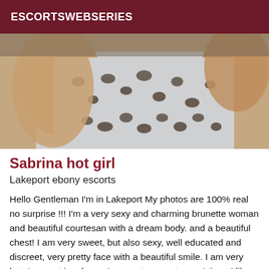ESCORTSWEBSERIES
[Figure (photo): Close-up photo showing a person wearing a leopard/animal print top, with skin visible, cropped image showing chest and hands area]
Sabrina hot girl
Lakeport ebony escorts
Hello Gentleman I'm in Lakeport My photos are 100% real no surprise !!! I'm a very sexy and charming brunette woman and beautiful courtesan with a dream body. and a beautiful chest! I am very sweet, but also sexy, well educated and discreet, very pretty face with a beautiful smile. I am very hot. I am not in a hurry, I respect my customers' time. I like real gentlemen and